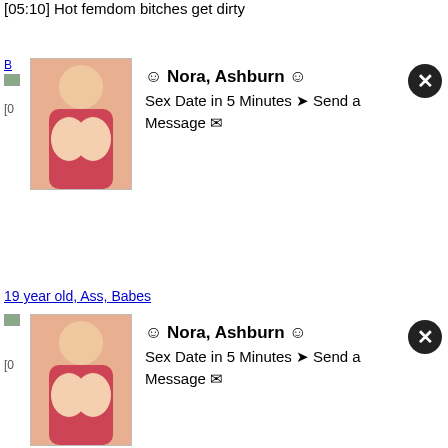[05:10] Hot femdom bitches get dirty
[Figure (photo): Ad overlay with photo of blonde woman]
19 year old, Ass, Babes
[Figure (photo): Second ad overlay with same photo]
Dominant babe handles the hot tits of her slave
[03:01] Dominant babe handles the hot tits of her slave
Babes, Big tits, Bondage
Skinny Japanese girl bound and vibrated lustily
[05:33] Skinny Japanese girl bound and vibrated lustily
Bondage, Bound, Dildo
Andi anderson's full tank of jizz in hot humiliation
[07:21] Andi anderson's full tank of jizz in hot humiliation